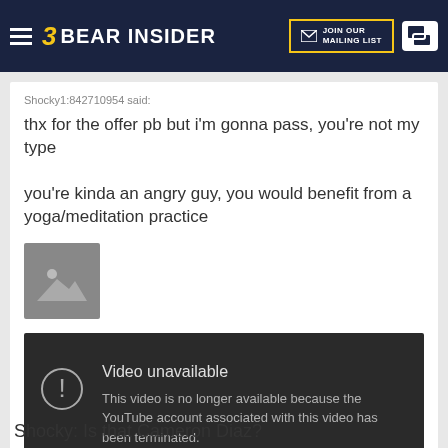Bear Insider — JOIN OUR MAILING LIST
Shocky1:842710954 said:
thx for the offer pb but i'm gonna pass, you're not my type

you're kinda an angry guy, you would benefit from a yoga/meditation practice
[Figure (photo): Image placeholder icon (mountain/landscape silhouette)]
[Figure (screenshot): YouTube embedded video error: 'Video unavailable. This video is no longer available because the YouTube account associated with this video has been terminated.']
Shocky: Is that Cameron Diaz?